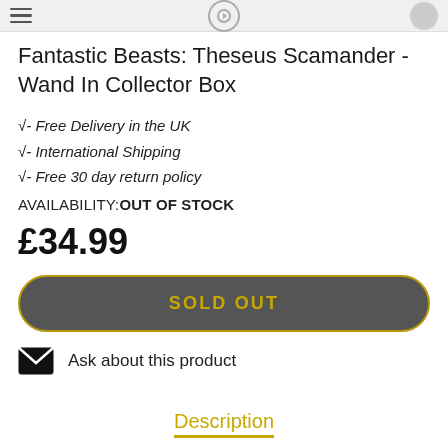navigation header bar
Fantastic Beasts: Theseus Scamander - Wand In Collector Box
√- Free Delivery in the UK
√- International Shipping
√- Free 30 day return policy
AVAILABILITY: OUT OF STOCK
£34.99
SOLD OUT
Ask about this product
Description